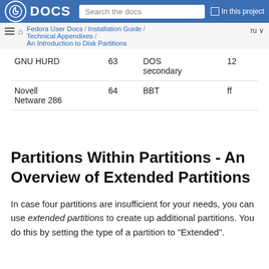Fedora DOCS | Search the docs | In this project | Fedora User Docs / Installation Guide / Technical Appendixes / An Introduction to Disk Partitions | ru
| GNU HURD | 63 | DOS secondary | 12 |
| Novell Netware 286 | 64 | BBT | ff |
Partitions Within Partitions - An Overview of Extended Partitions
In case four partitions are insufficient for your needs, you can use extended partitions to create up additional partitions. You do this by setting the type of a partition to "Extended".